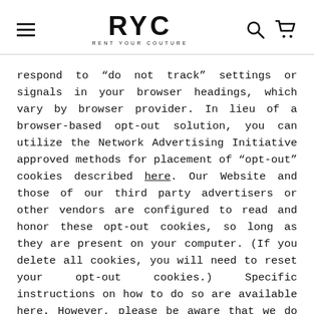RYC — RENT YOUR COUTURE
respond to “do not track” settings or signals in your browser headings, which vary by browser provider. In lieu of a browser-based opt-out solution, you can utilize the Network Advertising Initiative approved methods for placement of “opt-out” cookies described here. Our Website and those of our third party advertisers or other vendors are configured to read and honor these opt-out cookies, so long as they are present on your computer. (If you delete all cookies, you will need to reset your opt-out cookies.) Specific instructions on how to do so are available here. However, please be aware that we do not control these opt-out processes.